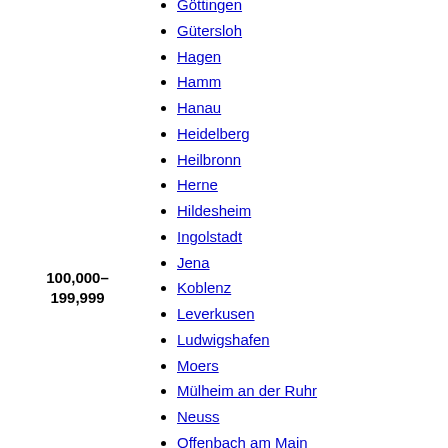Göttingen
Gütersloh
Hagen
Hamm
Hanau
Heidelberg
Heilbronn
Herne
Hildesheim
Ingolstadt
Jena
Koblenz
Leverkusen
Ludwigshafen
Moers
Mülheim an der Ruhr
Neuss
Offenbach am Main
Oldenburg
Osnabrück
Paderborn
Pforzheim
Potsdam
Recklinghausen
Regensburg
Remscheid
100,000–199,999